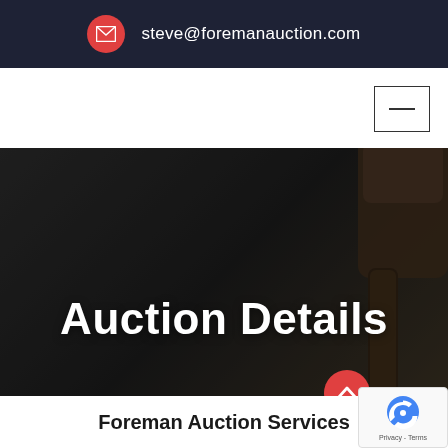steve@foremanauction.com
[Figure (screenshot): Navigation bar with hamburger menu button (three lines icon) on the right side]
[Figure (photo): Dark background hero banner with a wooden gavel/mallet on the right side, with 'Auction Details' text overlaid in white bold font, and a red scroll-up arrow button at the bottom right]
Foreman Auction Services